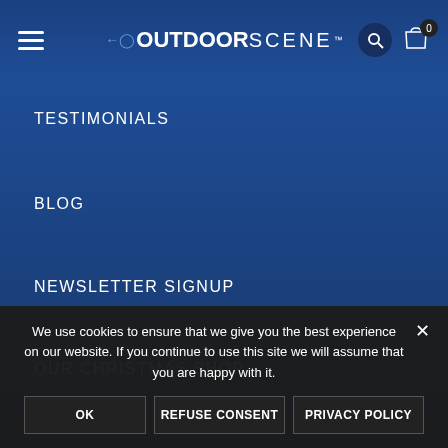OutdoorScene navigation header with hamburger menu, logo, search and cart icons
TESTIMONIALS
BLOG
NEWSLETTER SIGNUP
OUR CHRISTMAS SHOP
LEGAL
We use cookies to ensure that we give you the best experience on our website. If you continue to use this site we will assume that you are happy with it.
OK | REFUSE CONSENT | PRIVACY POLICY